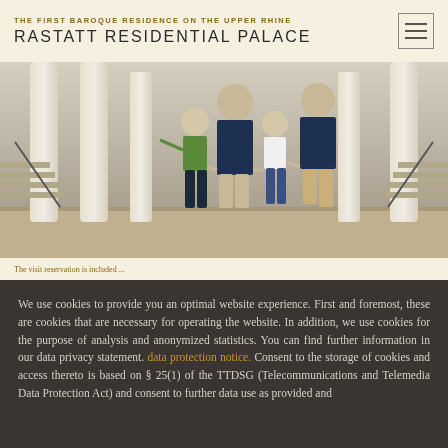THE FIRST BAROQUE RESIDENCE ON THE UPPER RHINE
RASTATT RESIDENTIAL PALACE
[Figure (photo): A family — two adults and two children — walking through the columned entrance hall of Rastatt Residential Palace. The children are young, one in a green shirt, one in a white top. The adults are casually dressed. Grand pale stone columns are visible in the background.]
The visit reservation is included ...
We use cookies to provide you an optimal website experience. First and foremost, these are cookies that are necessary for operating the website. In addition, we use cookies for the purpose of analysis and anonymized statistics. You can find further information in our data privacy statement. data protection notice. Consent to the storage of cookies and access thereto is based on § 25(1) of the TTDSG (Telecommunications and Telemedia Data Protection Act) and consent to further data use as provided and